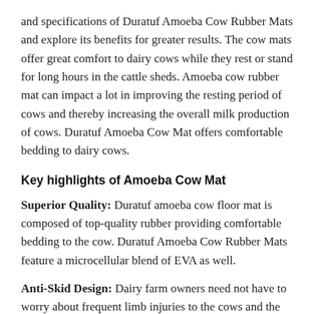and specifications of Duratuf Amoeba Cow Rubber Mats and explore its benefits for greater results. The cow mats offer great comfort to dairy cows while they rest or stand for long hours in the cattle sheds. Amoeba cow rubber mat can impact a lot in improving the resting period of cows and thereby increasing the overall milk production of cows. Duratuf Amoeba Cow Mat offers comfortable bedding to dairy cows.
Key highlights of Amoeba Cow Mat
Superior Quality: Duratuf amoeba cow floor mat is composed of top-quality rubber providing comfortable bedding to the cow. Duratuf Amoeba Cow Rubber Mats feature a microcellular blend of EVA as well.
Anti-Skid Design: Dairy farm owners need not have to worry about frequent limb injuries to the cows and the medical costs associated because of those injuries. Thanks to the